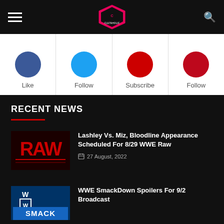Cultaholic navigation bar with hamburger menu, logo, and search
[Figure (illustration): Social media icons row: Like (Facebook), Follow (Twitter), Subscribe (YouTube), Follow (Pinterest)]
Like
Follow
Subscribe
Follow
RECENT NEWS
[Figure (illustration): WWE Raw red logo thumbnail]
Lashley Vs. Miz, Bloodline Appearance Scheduled For 8/29 WWE Raw
27 August, 2022
[Figure (illustration): WWE SmackDown blue logo thumbnail]
WWE SmackDown Spoilers For 9/2 Broadcast